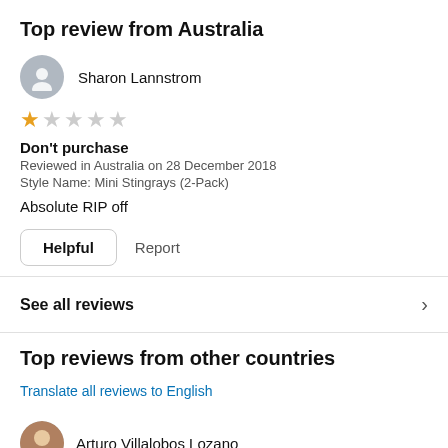Top review from Australia
Sharon Lannstrom
[Figure (other): 1-star rating out of 5 stars (one filled orange star, four empty stars)]
Don't purchase
Reviewed in Australia on 28 December 2018
Style Name: Mini Stingrays (2-Pack)
Absolute RIP off
Helpful   Report
See all reviews
Top reviews from other countries
Translate all reviews to English
Arturo Villalobos Lozano